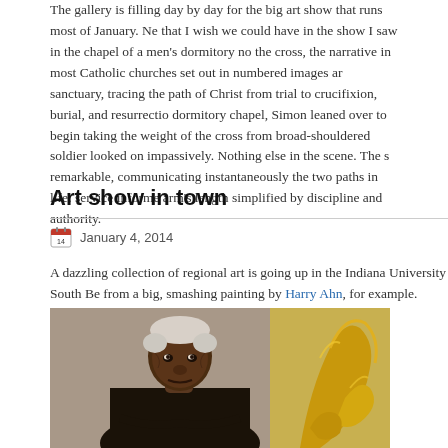The gallery is filling day by day for the big art show that runs most of January. Ne that I wish we could have in the show I saw in the chapel of a men's dormitory no the cross, the narrative in most Catholic churches set out in numbered images ar sanctuary, tracing the path of Christ from trial to crucifixion, burial, and resurrectio dormitory chapel, Simon leaned over to begin taking the weight of the cross from broad-shouldered soldier looked on impassively. Nothing else in the scene. The s remarkable, communicating instantaneously the two paths in life: service informe arm's length simplified by discipline and authority.
Art show in town
January 4, 2014
A dazzling collection of regional art is going up in the Indiana University South Be from a big, smashing painting by Harry Ahn, for example.
[Figure (photo): An elderly man with white hair wearing a black jacket, seated in front of a golden sculptural form on the right side]